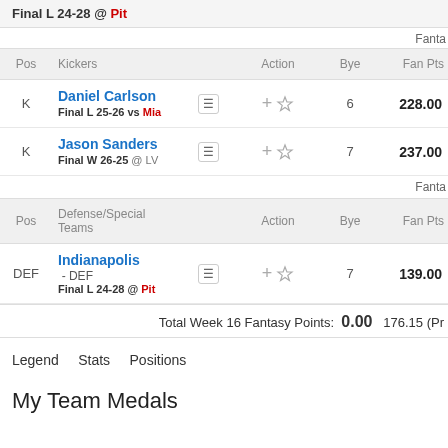Final L 24-28 @ Pit
| Pos | Kickers |  | Action | Bye | Fan Pts |
| --- | --- | --- | --- | --- | --- |
| K | Daniel Carlson
Final L 25-26 vs Mia |  | + ☆ | 6 | 228.00 |
| K | Jason Sanders
Final W 26-25 @ LV |  | + ☆ | 7 | 237.00 |
Fanta
| Pos | Defense/Special Teams |  | Action | Bye | Fan Pts |
| --- | --- | --- | --- | --- | --- |
| DEF | Indianapolis - DEF
Final L 24-28 @ Pit |  | + ☆ | 7 | 139.00 |
Total Week 16 Fantasy Points: 0.00  176.15 (Pr
Legend    Stats    Positions
My Team Medals